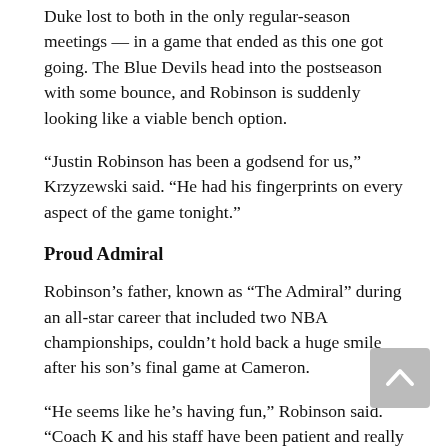Duke lost to both in the only regular-season meetings — in a game that ended as this one got going. The Blue Devils head into the postseason with some bounce, and Robinson is suddenly looking like a viable bench option.
“Justin Robinson has been a godsend for us,” Krzyzewski said. “He had his fingerprints on every aspect of the game tonight.”
Proud Admiral
Robinson’s father, known as “The Admiral” during an all-star career that included two NBA championships, couldn’t hold back a huge smile after his son’s final game at Cameron.
“He seems like he’s having fun,” Robinson said. “Coach K and his staff have been patient and really worked with him a lot, gotten him bigger and stronger. And I couldn’t be happier. He seems like he’s in a good place.”
His son came in averaging 2.1 points and 5.5 minutes, bu finished 4 of 6 from 3-point range — with one banked in early